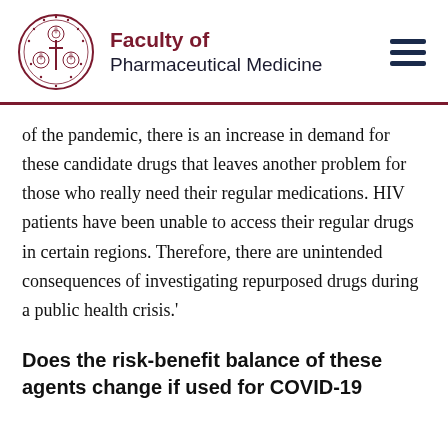Faculty of Pharmaceutical Medicine
of the pandemic, there is an increase in demand for these candidate drugs that leaves another problem for those who really need their regular medications. HIV patients have been unable to access their regular drugs in certain regions. Therefore, there are unintended consequences of investigating repurposed drugs during a public health crisis.'
Does the risk-benefit balance of these agents change if used for COVID-19